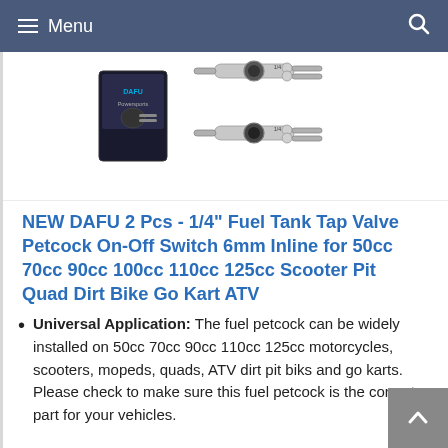Menu
[Figure (photo): Product photo of two metallic fuel petcock valves alongside a product box labeled DAFU]
NEW DAFU 2 Pcs - 1/4" Fuel Tank Tap Valve Petcock On-Off Switch 6mm Inline for 50cc 70cc 90cc 100cc 110cc 125cc Scooter Pit Quad Dirt Bike Go Kart ATV
Universal Application: The fuel petcock can be widely installed on 50cc 70cc 90cc 110cc 125cc motorcycles, scooters, mopeds, quads, ATV dirt pit biks and go karts. Please check to make sure this fuel petcock is the correct part for your vehicles.